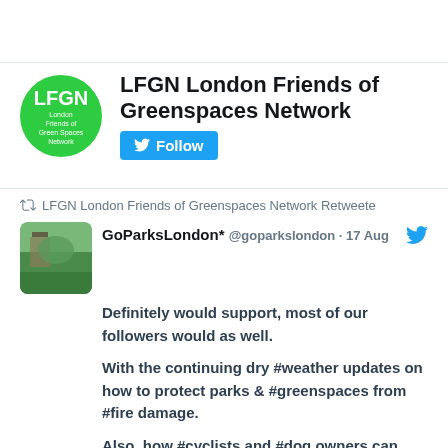[Figure (logo): LFGN London Friends of Green Spaces Network circular green logo with white text]
LFGN London Friends of Greenspaces Network
Follow button (Twitter)
LFGN London Friends of Greenspaces Network Retweeted
GoParksLondon* @goparkslondon · 17 Aug
Definitely would support, most of our followers would as well.

With the continuing dry #weather updates on how to protect parks & #greenspaces from #fire damage.

Also, how #cyclists and #dog owners can harmoniously interact with other #park users.

Lots of ideas 😀 https://twitter.com/MyParkCommunity/status/1557711276050190339